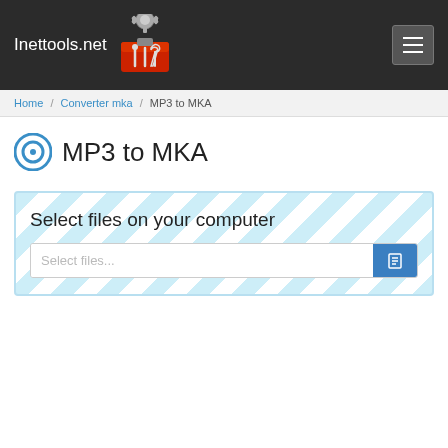Inettools.net
Home / Converter mka / MP3 to MKA
MP3 to MKA
Select files on your computer
Select files...